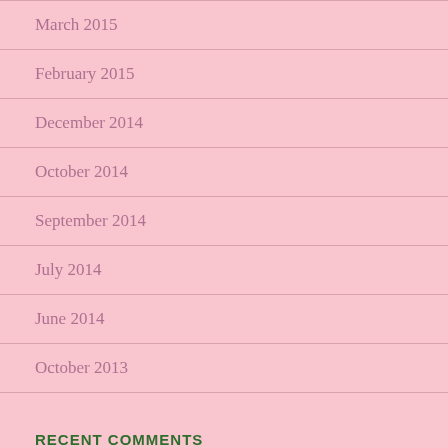March 2015
February 2015
December 2014
October 2014
September 2014
July 2014
June 2014
October 2013
RECENT COMMENTS
Roberta Stevenson on Boo Pals!!
[Figure (photo): Avatar photo of Roberta Stevenson, a woman with short brown hair]
[Figure (photo): Pixelated/default avatar icon with geometric pattern]